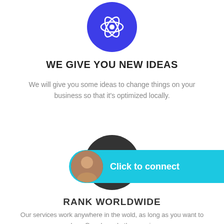[Figure (illustration): Blue circle icon with a white atom/flower-like symbol in the center]
WE GIVE YOU NEW IDEAS
We will give you some ideas to change things on your business so that it's optimized locally.
[Figure (illustration): Dark gray circle icon with a white globe/world icon in the center]
RANK WORLDWIDE
Our services work anywhere in the wold, as long as you want to rank on Google and other services.
[Figure (infographic): Click to connect button with avatar photo on a cyan/turquoise rounded pill background]
[Figure (illustration): Gray scroll-to-top button with upward chevron arrow]